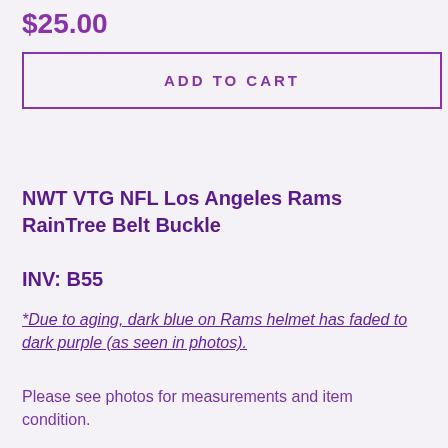$25.00
ADD TO CART
NWT VTG NFL Los Angeles Rams RainTree Belt Buckle
INV: B55
*Due to aging, dark blue on Rams helmet has faded to dark purple (as seen in photos).
Please see photos for measurements and item condition.